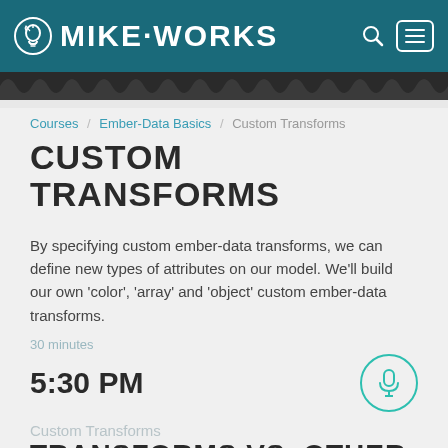MIKE·WORKS
Courses / Ember-Data Basics / Custom Transforms
CUSTOM TRANSFORMS
By specifying custom ember-data transforms, we can define new types of attributes on our model. We'll build our own 'color', 'array' and 'object' custom ember-data transforms.
30 minutes
5:30 PM
Custom Transforms
TRANSFORMS VS. OTHER